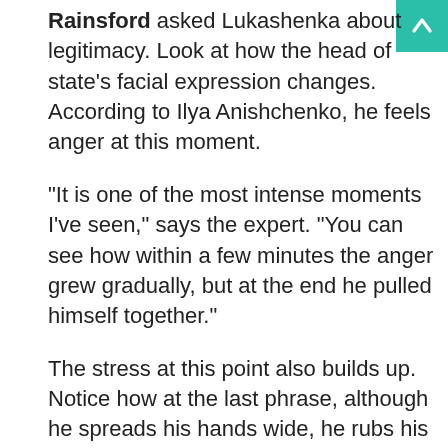Rainsford asked Lukashenka about legitimacy. Look at how the head of state's facial expression changes. According to Ilya Anishchenko, he feels anger at this moment.
"It is one of the most intense moments I've seen," says the expert. "You can see how within a few minutes the anger grew gradually, but at the end he pulled himself together."
The stress at this point also builds up. Notice how at the last phrase, although he spreads his hands wide, he rubs his fingers to calm himself. Then he grabs his jacket to fix it, but the camera moves off.
Also, the stronger his anger is, the more often he breathes and the wider his mouth is in the pauses between sentences.